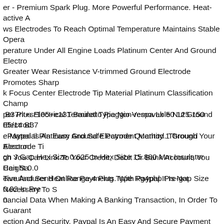er - Premium Spark Plug. More Powerful Performance. Heat-active Allows Electrodes To Reach Optimal Temperature Maintains Stable Operating Temperature Under All Engine Loads Platinum Center And Ground Electrodes Greater Wear Resistance V-trimmed Ground Electrode Promotes Sharp Spark Focus Center Electrode Tip Material Platinum Classification Champion Plus Electrical Terminal Type Non-removable Nut Ground Electrode Material Platinum Ground Electrode Quantity 1 Ground Electrode Ti... Design J Gap Hex Size 0.625 In Hex Size 15.880 Mm Insulator Height 0.0... Manufacturer Heat Range 4 Plug Type Rg4php Pre-gap Size 0.02 In Pre... 0.
B37nt+sr105+e131 Bauletto Piaggio Vespa Lx 50 125 150 05/14 B37... Paypal Is An Easy And Safe Payment Method. Through Your Account, Which You Can Link To Your Credit, Debit Or Bank Account, You Can Receive And Send Online Payments. With Paypal It Is Not Necessary To Share Financial Data When Making A Banking Transaction, In Order To Guarantee Protection And Security. Paypal Is An Easy And Secure Payment Method. Through Your Account, Which You Can Link To Your Credit, Debit Or Bank Account, You Can Receive And Send Payments Online Securely. With Paypal It Is Not Necessary To Share Financial Data When Making A Bank